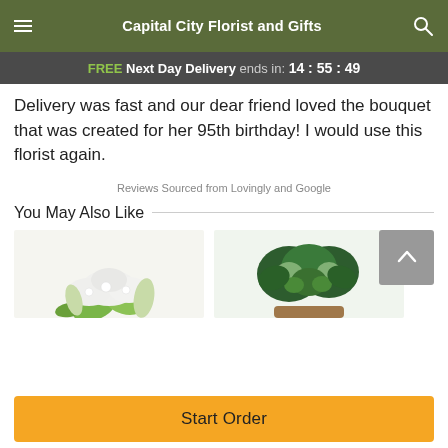Capital City Florist and Gifts
FREE Next Day Delivery ends in: 14:55:49
Delivery was fast and our dear friend loved the bouquet that was created for her 95th birthday! I would use this florist again.
Reviews Sourced from Lovingly and Google
You May Also Like
[Figure (photo): White flowers bouquet product image]
[Figure (photo): Green plant / herb arrangement product image]
Start Order